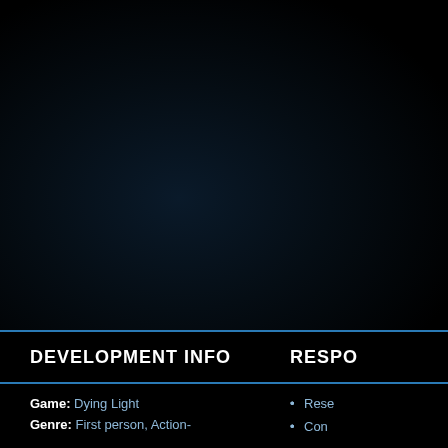[Figure (screenshot): Dark background area representing a game screenshot or video frame, predominantly black with faint dark blue gradient, from the game Dying Light]
DEVELOPMENT INFO   RESPO
Game: Dying Light
Genre: First person, Action-
Rese
Con